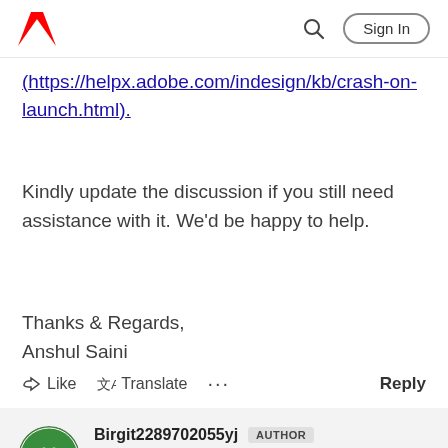Adobe | Sign In
(https://helpx.adobe.com/indesign/kb/crash-on-launch.html).
Kindly update the discussion if you still need assistance with it. We'd be happy to help.
Thanks & Regards,
Anshul Saini
Like   Translate   ...   Reply
Birgit2289702055yj  AUTHOR
Community Beginner
Jan 31, 2022